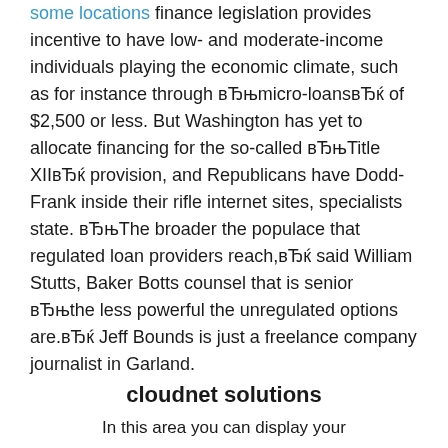some locations finance legislation provides incentive to have low- and moderate-income individuals playing the economic climate, such as for instance through вЂњmicro-loansвЂќ of $2,500 or less. But Washington has yet to allocate financing for the so-called вЂњTitle XIIвЂќ provision, and Republicans have Dodd-Frank inside their rifle internet sites, specialists state. вЂњThe broader the populace that regulated loan providers reach,вЂќ said William Stutts, Baker Botts counsel that is senior вЂњthe less powerful the unregulated options are.вЂќ Jeff Bounds is just a freelance company journalist in Garland.
cloudnet solutions
In this area you can display your